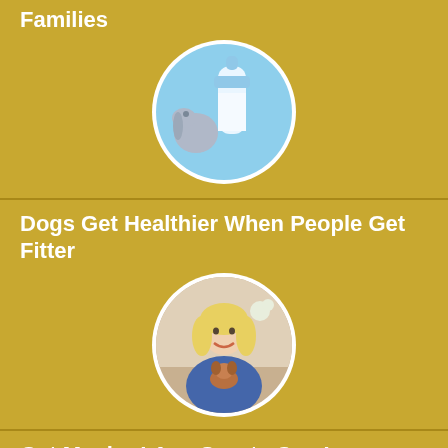Families
[Figure (photo): Circular photo of a baby bottle and a knitted stuffed elephant on a blue background]
Dogs Get Healthier When People Get Fitter
[Figure (photo): Circular photo of a blonde woman in a denim jacket holding a small dog]
Get Moving! Any Sports Can Lower